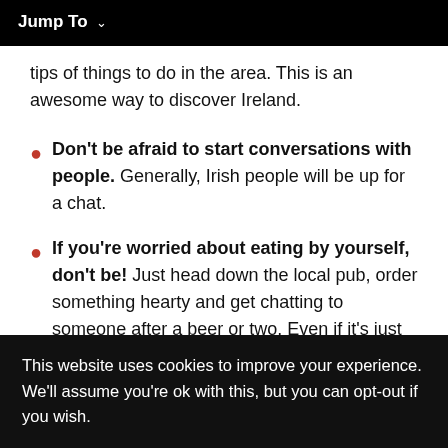Jump To ∨
tips of things to do in the area. This is an awesome way to discover Ireland.
Don't be afraid to start conversations with people. Generally, Irish people will be up for a chat.
If you're worried about eating by yourself, don't be! Just head down the local pub, order something hearty and get chatting to someone after a beer or two. Even if it's just the bar staff – they'll be happy to chat.
This website uses cookies to improve your experience. We'll assume you're ok with this, but you can opt-out if you wish.